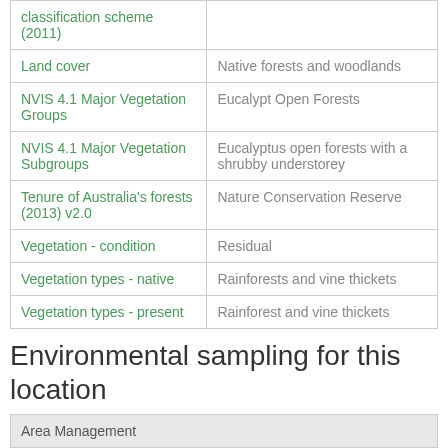| Category | Value |
| --- | --- |
| classification scheme (2011) |  |
| Land cover | Native forests and woodlands |
| NVIS 4.1 Major Vegetation Groups | Eucalypt Open Forests |
| NVIS 4.1 Major Vegetation Subgroups | Eucalyptus open forests with a shrubby understorey |
| Tenure of Australia's forests (2013) v2.0 | Nature Conservation Reserve |
| Vegetation - condition | Residual |
| Vegetation types - native | Rainforests and vine thickets |
| Vegetation types - present | Rainforest and vine thickets |
Environmental sampling for this location
| Area Management |  |
| --- | --- |
| Natural resource management | 8673855.0 $ |